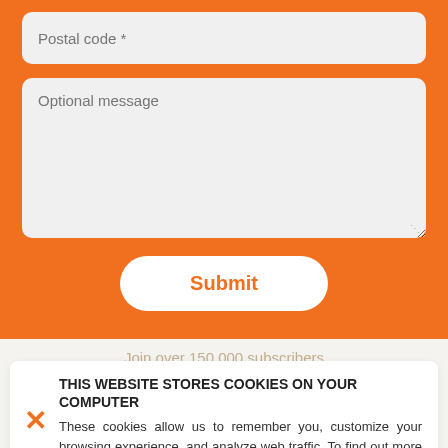Postal code *
Optional message
Submit
Join over 150,000 subscribers
Stay informed on the latest safety and security news, plus free
THIS WEBSITE STORES COOKIES ON YOUR COMPUTER
These cookies allow us to remember you, customize your browsing experience, and analyze web traffic. To find out more about the cookies we use, see our Privacy Policy.